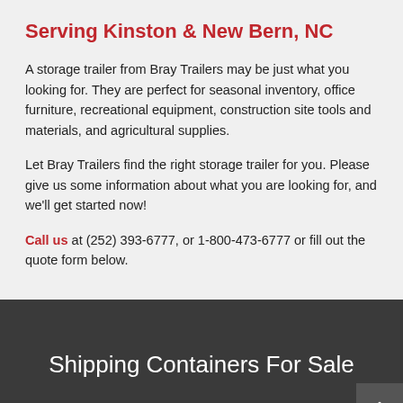Serving Kinston & New Bern, NC
A storage trailer from Bray Trailers may be just what you looking for. They are perfect for seasonal inventory, office furniture, recreational equipment, construction site tools and materials, and agricultural supplies.
Let Bray Trailers find the right storage trailer for you. Please give us some information about what you are looking for, and we'll get started now!
Call us at (252) 393-6777, or 1-800-473-6777 or fill out the quote form below.
Shipping Containers For Sale